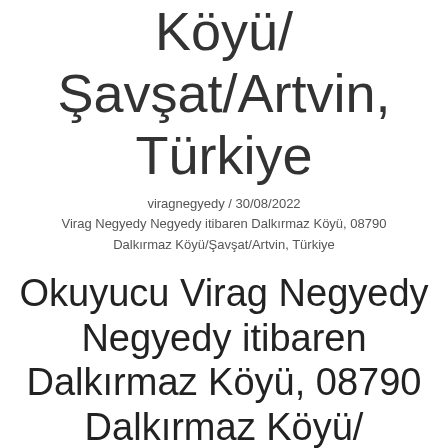Köyü/ Şavşat/Artvin, Türkiye
viragnegyedy / 30/08/2022
Virag Negyedy Negyedy itibaren Dalkırmaz Köyü, 08790 Dalkırmaz Köyü/Şavşat/Artvin, Türkiye
Okuyucu Virag Negyedy Negyedy itibaren Dalkırmaz Köyü, 08790 Dalkırmaz Köyü/ Şavşat/Artvin, Türkiye